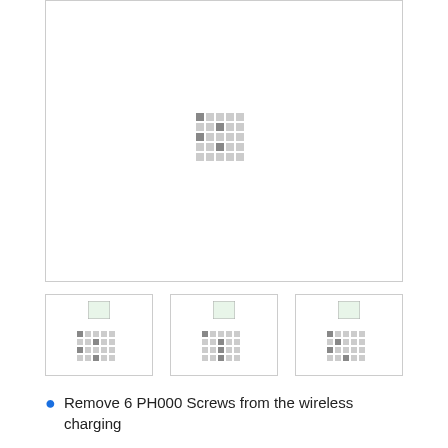[Figure (photo): Main large image placeholder with loading pixel pattern icon in center]
[Figure (photo): Small thumbnail image 1 with loading pixel pattern]
[Figure (photo): Small thumbnail image 2 with loading pixel pattern]
[Figure (photo): Small thumbnail image 3 with loading pixel pattern]
Remove 6 PH000 Screws from the wireless charging